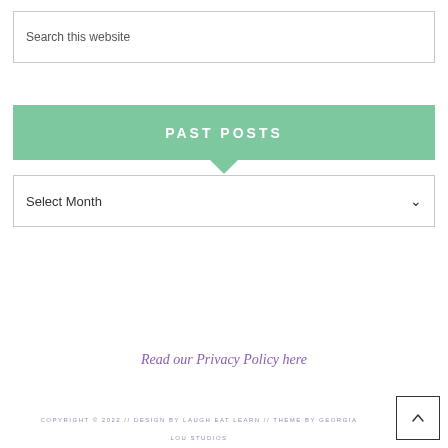Search this website
PAST POSTS
Select Month
Read our Privacy Policy here
COPYRIGHT © 2022 // DESIGN BY LAUGH EAT LEARN // THEME BY GEORGIA LOU STUDIOS